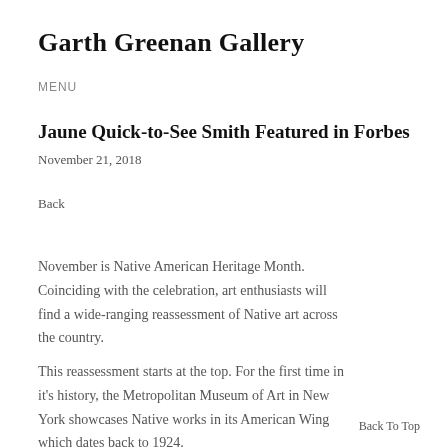Garth Greenan Gallery
MENU
Jaune Quick-to-See Smith Featured in Forbes
November 21, 2018
Back
November is Native American Heritage Month. Coinciding with the celebration, art enthusiasts will find a wide-ranging reassessment of Native art across the country.
This reassessment starts at the top. For the first time in it's history, the Metropolitan Museum of Art in New York showcases Native works in its American Wing which dates back to 1924.
Back To Top